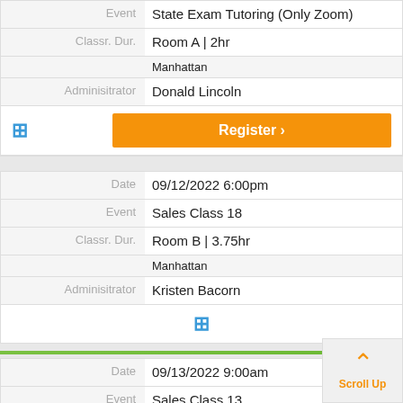| Field | Value |
| --- | --- |
| Event | State Exam Tutoring (Only Zoom) |
| Classr. Dur. | Room A | 2hr |
|  | Manhattan |
| Adminisitrator | Donald Lincoln |
|  | [Register button] |
| Field | Value |
| --- | --- |
| Date | 09/12/2022 6:00pm |
| Event | Sales Class 18 |
| Classr. Dur. | Room B | 3.75hr |
|  | Manhattan |
| Adminisitrator | Kristen Bacorn |
|  | [Plus icon] |
| Field | Value |
| --- | --- |
| Date | 09/13/2022 9:00am |
| Event | Sales Class 13 |
| Classr. Dur. | Room B | 3.75hr |
|  | Manhattan |
| Adminisitrator | William Seto |